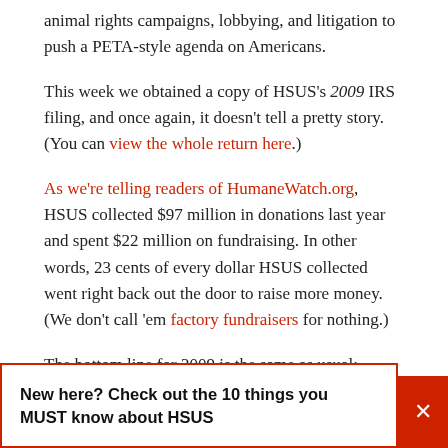animal rights campaigns, lobbying, and litigation to push a PETA-style agenda on Americans.
This week we obtained a copy of HSUS's 2009 IRS filing, and once again, it doesn't tell a pretty story. (You can view the whole return here.)
As we're telling readers of HumaneWatch.org, HSUS collected $97 million in donations last year and spent $22 million on fundraising. In other words, 23 cents of every dollar HSUS collected went right back out the door to raise more money. (We don't call 'em factory fundraisers for nothing.)
The bottom line for 2009 is the same as usual: HSUS sucked in millions from unsuspecting Americans who believed it was
New here? Check out the 10 things you MUST know about HSUS